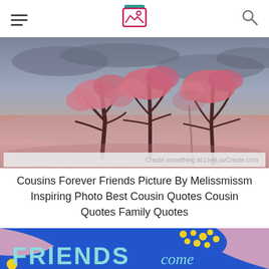Navigation header with hamburger menu, image logo, and search icon
[Figure (photo): Landscape photo of pink blooming trees against a cloudy grey sky and pink-hued field, with watermark 'Create something at LiveLuvCreate.com']
Cousins Forever Friends Picture By Melissmissm Inspiring Photo Best Cousin Quotes Cousin Quotes Family Quotes
[Figure (photo): Blue background illustration with pink wavy shapes, yellow dots, and teal text reading 'FRIENDS come']